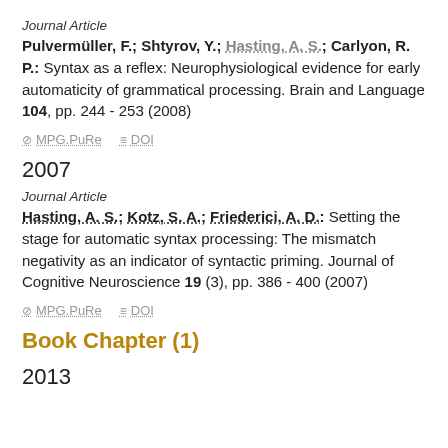Journal Article
Pulvermüller, F.; Shtyrov, Y.; Hasting, A. S.; Carlyon, R. P.: Syntax as a reflex: Neurophysiological evidence for early automaticity of grammatical processing. Brain and Language 104, pp. 244 - 253 (2008)
⊘ MPG.PuRe   ≡ DOI
2007
Journal Article
Hasting, A. S.; Kotz, S. A.; Friederici, A. D.: Setting the stage for automatic syntax processing: The mismatch negativity as an indicator of syntactic priming. Journal of Cognitive Neuroscience 19 (3), pp. 386 - 400 (2007)
⊘ MPG.PuRe   ≡ DOI
Book Chapter (1)
2013